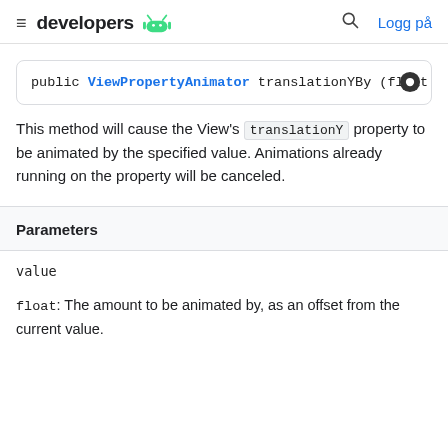developers [android logo] [search] Logg på
public ViewPropertyAnimator translationYBy (float va
This method will cause the View's translationY property to be animated by the specified value. Animations already running on the property will be canceled.
| Parameters |
| --- |
| value | float: The amount to be animated by, as an offset from the current value. |